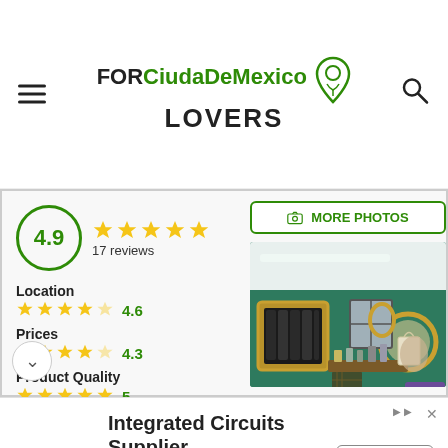FORCiudaDeMexico LOVERS
4.9 — 17 reviews — Location 4.6 — Prices 4.3 — Product Quality 5 — Establishment 5
[Figure (photo): Interior of a shop with green walls, decorative mirrors with gold frames, wigs on display, and shelving with products]
Integrated Circuits Supplier — Check Part Availability & Inventory from Kynix Kynix — Get Quote (Kynix ad)